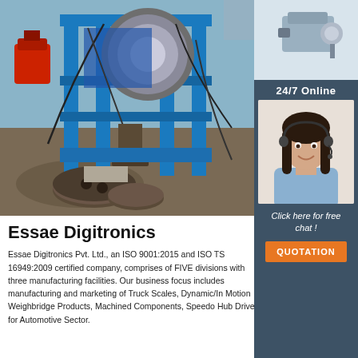[Figure (photo): Industrial blue electric motor/winch machinery on a construction or mining site ground, with cables and circular heavy metal components in foreground]
[Figure (photo): Small motor/pump equipment on white background in upper right corner sidebar]
24/7 Online
[Figure (photo): Customer service representative woman wearing headset, smiling, in professional attire]
Click here for free chat !
QUOTATION
Essae Digitronics
Essae Digitronics Pvt. Ltd., an ISO 9001:2015 and ISO TS 16949:2009 certified company, comprises of FIVE divisions with three manufacturing facilities. Our business focus includes manufacturing and marketing of Truck Scales, Dynamic/In Motion Weighbridge Products, Machined Components, Speedo Hub Drive for Automotive Sector.